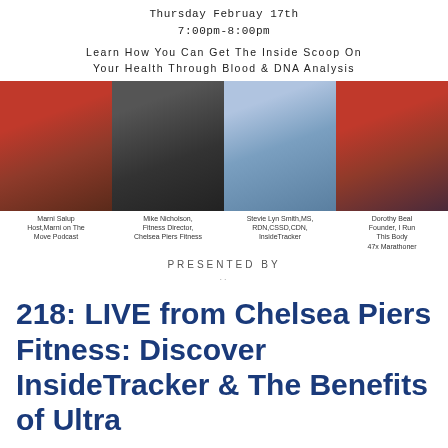Thursday Februay 17th
7:00pm-8:00pm
Learn How You Can Get The Inside Scoop On Your Health Through Blood & DNA Analysis
[Figure (photo): Four panel photo showing speakers: Marni Salup (woman with headphones in red), Mike Nicholson (fitness trainer in black Chelsea Piers Fitness tank), Stevie Lyn Smith (blonde woman in denim jacket), Dorothy Beal (woman in red sweatshirt outdoors)]
Marni Salup Host,Marni on The Move Podcast
Mike Nicholson, Fitness Director, Chelsea Piers Fitness
Stevie Lyn Smith,MS, RDN,CSSD,CDN, InsideTracker
Dorothy Beal Founder, I Run This Body 47x Marathoner
PRESENTED BY
218: LIVE from Chelsea Piers Fitness: Discover InsideTracker & The Benefits of Ultra